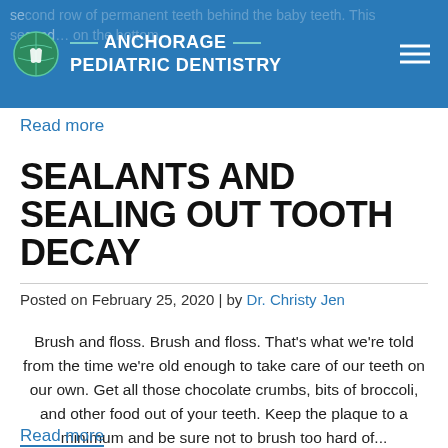Anchorage Pediatric Dentistry
Read more
SEALANTS AND SEALING OUT TOOTH DECAY
Posted on February 25, 2020 | by Dr. Christy Jen
Brush and floss. Brush and floss. That's what we're told from the time we're old enough to take care of our teeth on our own. Get all those chocolate crumbs, bits of broccoli, and other food out of your teeth. Keep the plaque to a minimum and be sure not to brush too hard of...
Read more